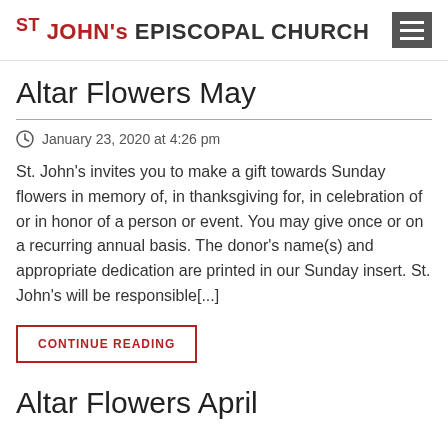ST JOHN's EPISCOPAL CHURCH
Altar Flowers May
January 23, 2020 at 4:26 pm
St. John's invites you to make a gift towards Sunday flowers in memory of, in thanksgiving for, in celebration of or in honor of a person or event. You may give once or on a recurring annual basis. The donor's name(s) and appropriate dedication are printed in our Sunday insert. St. John's will be responsible[...]
CONTINUE READING
Altar Flowers April